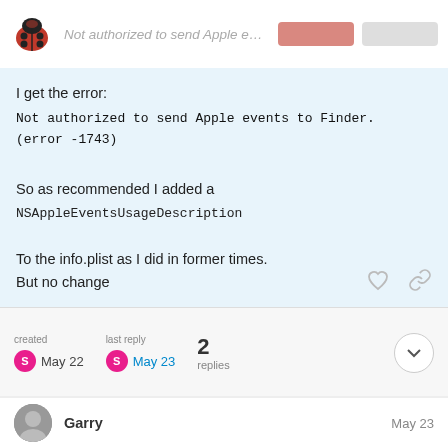Not authorized to send Apple events to Finder. (...
I get the error:
Not authorized to send Apple events to Finder.
(error -1743)
So as recommended I added a NSAppleEventsUsageDescription
To the info.plist as I did in former times.
But no change
What did I do wrong?
created  May 22    last reply  May 23    2 replies
Garry    May 23